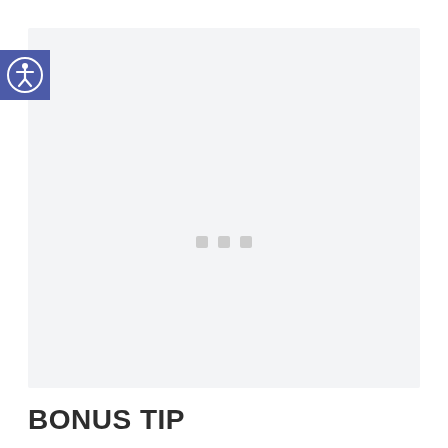[Figure (screenshot): A light gray content area representing a loading web page or application interface, with a blue accessibility icon (person in circle) in the upper left corner and three small gray loading dots in the center of the content area.]
BONUS TIP